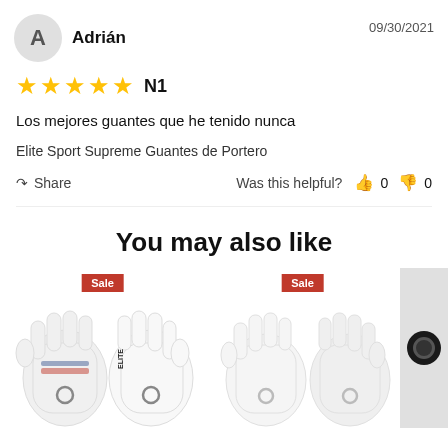Adrián
09/30/2021
★★★★★ N1
Los mejores guantes que he tenido nunca
Elite Sport Supreme Guantes de Portero
Share   Was this helpful? 👍 0 👎 0
You may also like
[Figure (photo): Two pairs of white goalkeeper gloves with Sale badges, and a gray panel with chat icon on the right.]